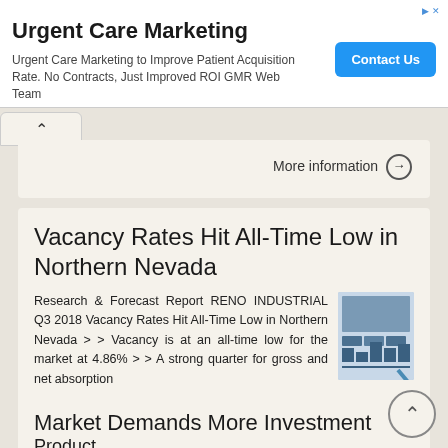[Figure (screenshot): Advertisement banner: Urgent Care Marketing with Contact Us button]
More information →
Vacancy Rates Hit All-Time Low in Northern Nevada
Research & Forecast Report RENO INDUSTRIAL Q3 2018 Vacancy Rates Hit All-Time Low in Northern Nevada > > Vacancy is at an all-time low for the market at 4.86% > > A strong quarter for gross and net absorption
More information →
Market Demands More Investment